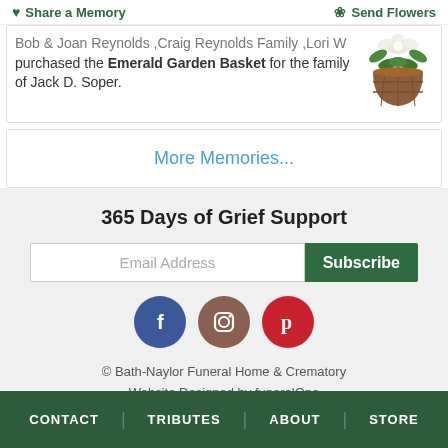Share a Memory | Send Flowers
Bob & Joan Reynolds ,Craig Reynolds Family ,Lori W purchased the Emerald Garden Basket for the family of Jack D. Soper.
More Memories...
365 Days of Grief Support
Email Address Subscribe
[Figure (illustration): Social media icons: Facebook (blue circle), Instagram (brown circle), Pinterest (red circle)]
© Bath-Naylor Funeral Home & Crematory Website Designed by funeralOne
CONTACT | TRIBUTES | ABOUT | STORE